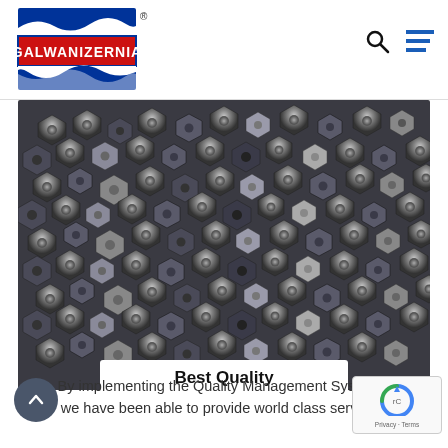[Figure (logo): Galwanizernia company logo with wavy blue lines above and below a red rectangle containing white bold text 'GALWANIZERNIA' with a registered trademark symbol]
[Figure (photo): Close-up photograph of a large pile of metallic hex nuts, dark grey/silver in color, filling the entire frame]
Best Quality
By implementing the Quality Management Systems, we have been able to provide world class services.